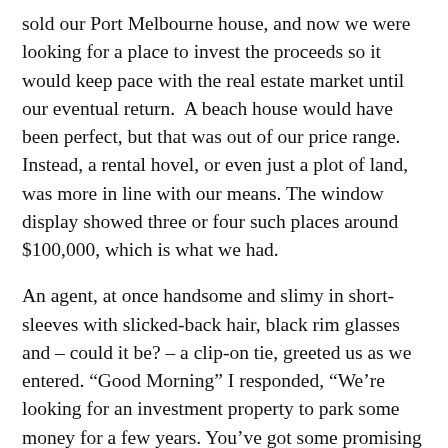sold our Port Melbourne house, and now we were looking for a place to invest the proceeds so it would keep pace with the real estate market until our eventual return.  A beach house would have been perfect, but that was out of our price range. Instead, a rental hovel, or even just a plot of land, was more in line with our means. The window display showed three or four such places around $100,000, which is what we had.
An agent, at once handsome and slimy in short-sleeves with slicked-back hair, black rim glasses and – could it be? – a clip-on tie, greeted us as we entered. “Good Morning” I responded, “We’re looking for an investment property to park some money for a few years. You’ve got some promising prospects listed there.”
He gave a grin and looked us over — two middle-aged men in shorts and polo shirts wearing running shoes and sunglasses. “Right, then — we should have a chat…” he suggested, motioning us into a small glass cubicle: a chair for him, stools